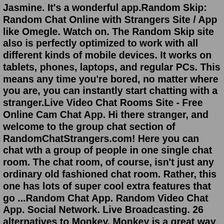Jasmine. It's a wonderful app.Random Skip: Random Chat Online with Strangers Site / App like Omegle. Watch on. The Random Skip site also is perfectly optimized to work with all different kinds of mobile devices. It works on tablets, phones, laptops, and regular PCs. This means any time you're bored, no matter where you are, you can instantly start chatting with a stranger.Live Video Chat Rooms Site - Free Online Cam Chat App. Hi there stranger, and welcome to the group chat section of RandomChatStrangers.com! Here you can chat wth a group of people in one single chat room. The chat room, of course, isn't just any ordinary old fashioned chat room. Rather, this one has lots of super cool extra features that go ...Random Chat App. Random Video Chat App. Social Network. Live Broadcasting. 26 alternatives to Monkey. Monkey is a great way to connect to new people all over the world, either stay in the general room or dive into special rooms where you can connect with like minded individuals one on one. Suggest and vote on features.Imeetzu. 1. Omegle